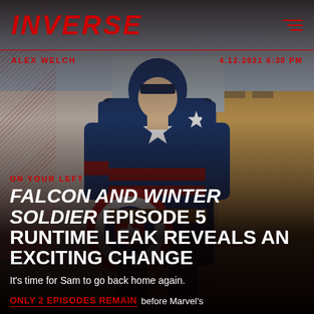INVERSE
ALEX WELCH
4.12.2021 6:30 PM
[Figure (photo): A person dressed as Captain America / John Walker in the Marvel Falcon and Winter Soldier TV series, wearing the blue, red and white Captain America suit with a star on the chest, holding the shield, standing on a city street.]
ON YOUR LEFT
FALCON AND WINTER SOLDIER EPISODE 5 RUNTIME LEAK REVEALS AN EXCITING CHANGE
It's time for Sam to go back home again.
ONLY 2 EPISODES REMAIN before Marvel's